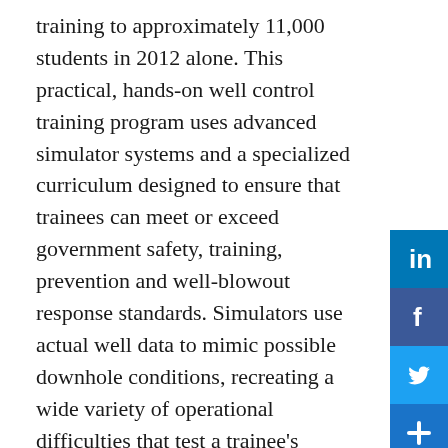training to approximately 11,000 students in 2012 alone. This practical, hands-on well control training program uses advanced simulator systems and a specialized curriculum designed to ensure that trainees can meet or exceed government safety, training, prevention and well-blowout response standards. Simulators use actual well data to mimic possible downhole conditions, recreating a wide variety of operational difficulties that test a trainee's ability to resolve unique developments and avoid a blowout. The training program is accredited by the American Petroleum Institute and by International Association of Drilling Contractors to provide all levels of WellCAP certification.
Pemex and the Mexican government are proactively addressing potential blowout situations, and are focused on ensuring that personnel across all levels of exploration activities – from the executive suite to the field – are trained beforehand, know their roles, and are not using actual